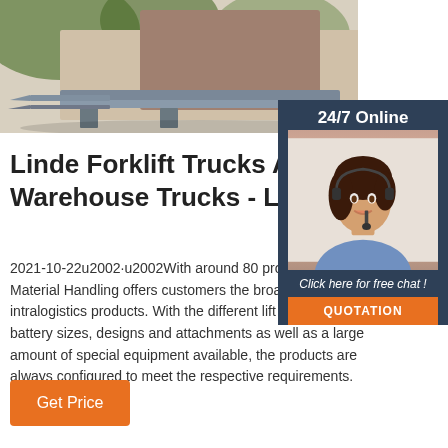[Figure (photo): Linde forklift/warehouse truck product photo showing forks and mast structure in outdoor/warehouse setting]
[Figure (photo): 24/7 Online customer service panel with agent photo and chat/quotation options]
Linde Forklift Trucks And Warehouse Trucks - Linde-MH
2021-10-22u2002·u2002With around 80 products, Linde Material Handling offers customers the broadest range of intralogistics products. With the different lift and mast variants, battery sizes, designs and attachments as well as a large amount of special equipment available, the products are always configured to meet the respective requirements.
Get Price